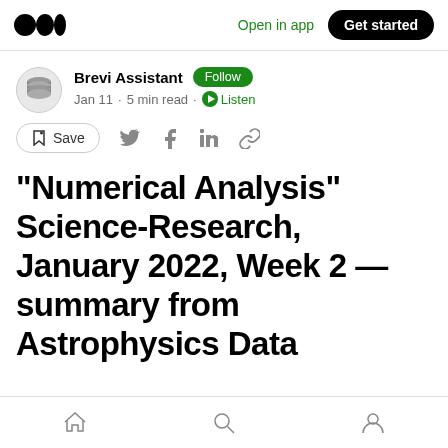Open in app | Get started
Brevi Assistant · Follow · Jan 11 · 5 min read · Listen
Save
“Numerical Analysis” Science-Research, January 2022, Week 2 — summary from Astrophysics Data